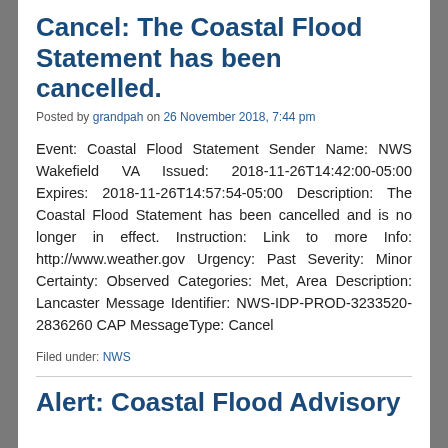Cancel: The Coastal Flood Statement has been cancelled.
Posted by grandpah on 26 November 2018, 7:44 pm
Event: Coastal Flood Statement Sender Name: NWS Wakefield VA Issued: 2018-11-26T14:42:00-05:00 Expires: 2018-11-26T14:57:54-05:00 Description: The Coastal Flood Statement has been cancelled and is no longer in effect. Instruction: Link to more Info: http://www.weather.gov Urgency: Past Severity: Minor Certainty: Observed Categories: Met, Area Description: Lancaster Message Identifier: NWS-IDP-PROD-3233520-2836260 CAP MessageType: Cancel
Filed under: NWS
Alert: Coastal Flood Advisory